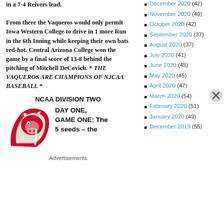in a 7-4 Reivers lead. From there the Vaqueros would only permit Iowa Western College to drive in 1 more Run in the 6th Inning while keeping their own bats red-hot. Central Arizona College won the game by a final score of 13-8 behind the pitching of Mitchell DeCovich. * THE VAQUEROS ARE CHAMPIONS OF NJCAA BASEBALL *
NCAA DIVISION TWO
[Figure (illustration): Central Arizona College mascot logo - a red/pink Vaquero (bull/matador) character in a C-shaped design]
DAY ONE, GAME ONE: The 5 seeds – the
Advertisements
December 2020 (42)
November 2020 (49)
October 2020 (42)
September 2020 (37)
August 2020 (37)
July 2020 (41)
June 2020 (45)
May 2020 (45)
April 2020 (47)
March 2020 (54)
February 2020 (51)
January 2020 (49)
December 2019 (55)